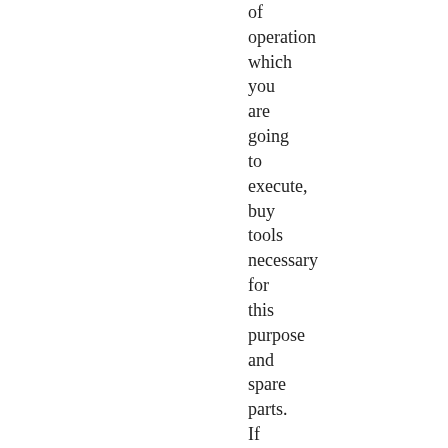of operation which you are going to execute, buy tools necessary for this purpose and spare parts. If you faced a problem, which